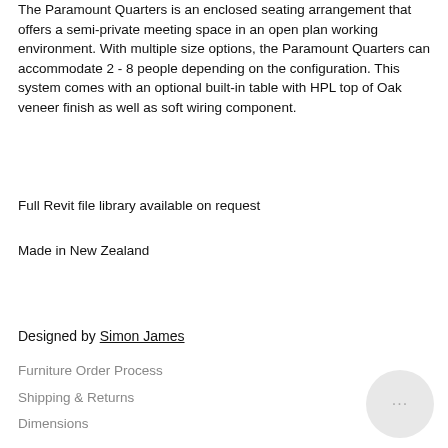The Paramount Quarters is an enclosed seating arrangement that offers a semi-private meeting space in an open plan working environment. With multiple size options, the Paramount Quarters can accommodate 2 - 8 people depending on the configuration. This system comes with an optional built-in table with HPL top of Oak veneer finish as well as soft wiring component.
Full Revit file library available on request
Made in New Zealand
Designed by Simon James
Furniture Order Process
Shipping & Returns
Dimensions
Specification Sheet
Share
[Figure (illustration): Chat bubble icon — circular grey button with ellipsis (…) in the bottom-right corner of the page]